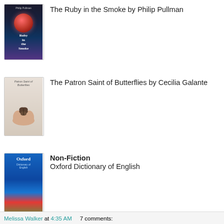[Figure (illustration): Book cover of The Ruby in the Smoke by Philip Pullman – dark blue/purple background with a red jewel/ruby in the center]
The Ruby in the Smoke by Philip Pullman
[Figure (illustration): Book cover of The Patron Saint of Butterflies by Cecilia Galante – beige/tan cover with hands holding a butterfly]
The Patron Saint of Butterflies by Cecilia Galante
[Figure (illustration): Book cover of Oxford Dictionary of English – dark blue cover with red and green stripe at bottom]
Non-Fiction
Oxford Dictionary of English
Melissa Walker at 4:35 AM   7 comments: